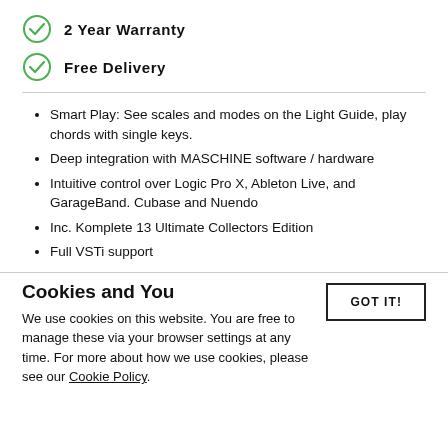2 Year Warranty
Free Delivery
Smart Play: See scales and modes on the Light Guide, play chords with single keys.
Deep integration with MASCHINE software / hardware
Intuitive control over Logic Pro X, Ableton Live, and GarageBand. Cubase and Nuendo
Inc. Komplete 13 Ultimate Collectors Edition
Full VSTi support
Cookies and You
We use cookies on this website. You are free to manage these via your browser settings at any time. For more about how we use cookies, please see our Cookie Policy.